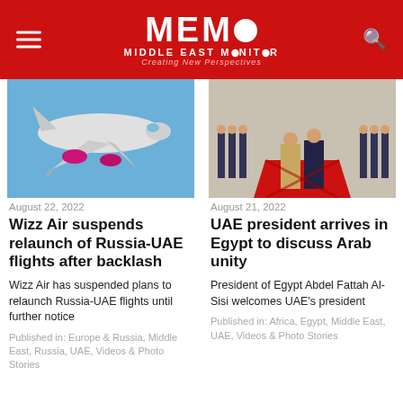MEMO MIDDLE EAST MONITOR - Creating New Perspectives
[Figure (photo): Wizz Air airplane with pink/magenta engines seen from below against blue sky]
August 22, 2022
Wizz Air suspends relaunch of Russia-UAE flights after backlash
Wizz Air has suspended plans to relaunch Russia-UAE flights until further notice
Published in: Europe & Russia, Middle East, Russia, UAE, Videos & Photo Stories
[Figure (photo): UAE president and Egypt president walking on red carpet with military honor guard]
August 21, 2022
UAE president arrives in Egypt to discuss Arab unity
President of Egypt Abdel Fattah Al-Sisi welcomes UAE's president
Published in: Africa, Egypt, Middle East, UAE, Videos & Photo Stories